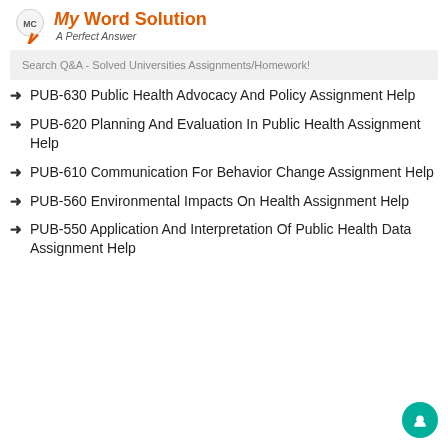My Word Solution – A Perfect Answer
Search Q&A - Solved Universities Assignments/Homework!
PUB-630 Public Health Advocacy And Policy Assignment Help
PUB-620 Planning And Evaluation In Public Health Assignment Help
PUB-610 Communication For Behavior Change Assignment Help
PUB-560 Environmental Impacts On Health Assignment Help
PUB-550 Application And Interpretation Of Public Health Data Assignment Help